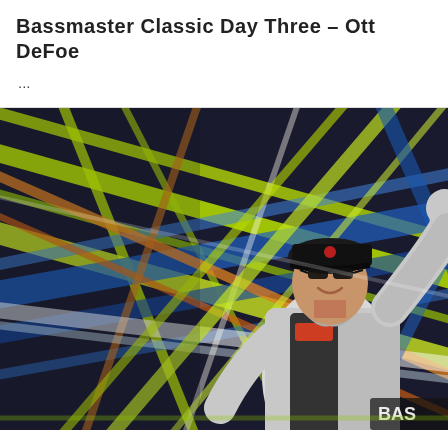Bassmaster Classic Day Three – Ott DeFoe
...
[Figure (photo): A man wearing a black cap, sunglasses, and a gray/black fishing tournament jersey with sponsor logos, raising his arm in a celebratory gesture. Behind him is a colorful abstract background with intersecting diagonal streaks of yellow-green, blue, orange, and white light, characteristic of a Bassmaster Classic weigh-in stage.]